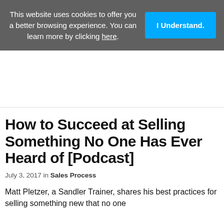This website uses cookies to offer you a better browsing experience. You can learn more by clicking here.
I Understand.
How to Succeed at Selling Something No One Has Ever Heard of [Podcast]
July 3, 2017 in Sales Process
Matt Pletzer, a Sandler Trainer, shares his best practices for selling something new that no one...